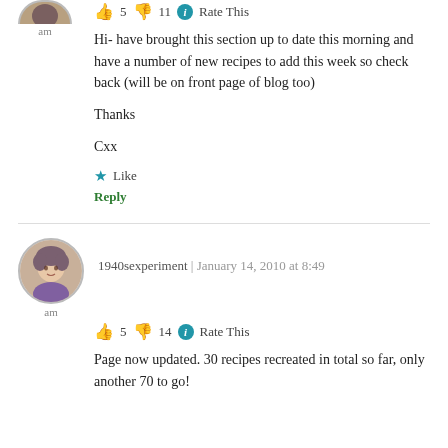👍 5 👎 11 ℹ Rate This
Hi- have brought this section up to date this morning and have a number of new recipes to add this week so check back (will be on front page of blog too)

Thanks

Cxx
★ Like
Reply
1940sexperiment | January 14, 2010 at 8:49
👍 5 👎 14 ℹ Rate This
Page now updated. 30 recipes recreated in total so far, only another 70 to go!